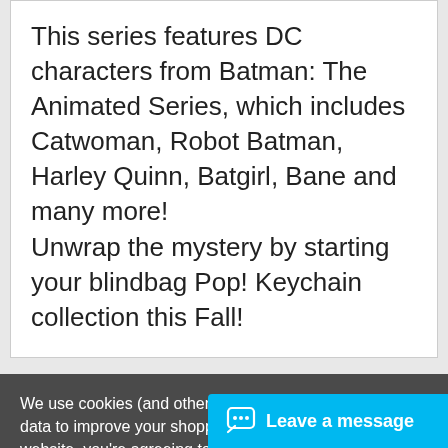This series features DC characters from Batman: The Animated Series, which includes Catwoman, Robot Batman, Harley Quinn, Batgirl, Bane and many more! Unwrap the mystery by starting your blindbag Pop! Keychain collection this Fall!
We use cookies (and other similar technologies) to collect data to improve your shopping experience. By using our website, you're agreeing to the collection of data as described in our Privacy Policy.
Settings
Reject
Leave a message